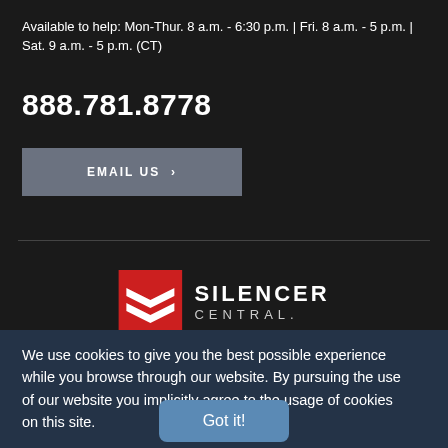Available to help: Mon-Thur. 8 a.m. - 6:30 p.m. | Fri. 8 a.m. - 5 p.m. | Sat. 9 a.m. - 5 p.m. (CT)
888.781.8778
EMAIL US >
[Figure (logo): Silencer Central logo — red square icon with white chevron/arrow shapes, text SILENCER CENTRAL in white and grey]
We use cookies to give you the best possible experience while you browse through our website. By pursuing the use of our website you implicitly agree to the usage of cookies on this site.
Got it!